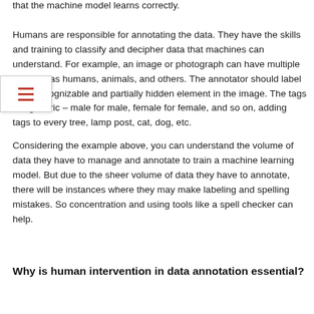that the machine model learns correctly.

Humans are responsible for annotating the data. They have the skills and training to classify and decipher data that machines can understand. For example, an image or photograph can have multiple cts such as humans, animals, and others. The annotator should label each recognizable and partially hidden element in the image. The tags are generic – male for male, female for female, and so on, adding tags to every tree, lamp post, cat, dog, etc.
Considering the example above, you can understand the volume of data they have to manage and annotate to train a machine learning model. But due to the sheer volume of data they have to annotate, there will be instances where they may make labeling and spelling mistakes. So concentration and using tools like a spell checker can help.
Why is human intervention in data annotation essential?